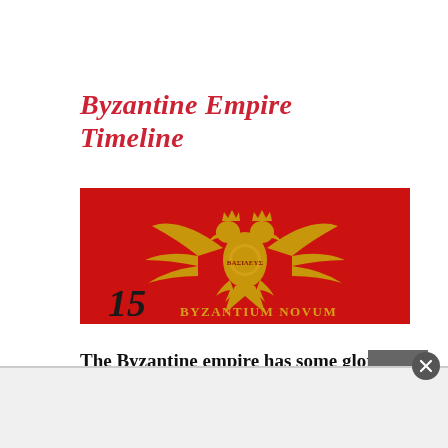Byzantine Empire Timeline
[Figure (illustration): Red background image with a golden double-headed Byzantine eagle emblem in the center. At the bottom left, an italic numeral '15' in black and gold. Below center reads 'BYZANTIUM NOVUM' in gold serif capitals.]
The Byzantine empire has some glorious periods from the 9th Century under the Macedonian dynasty, but declined and fell to the